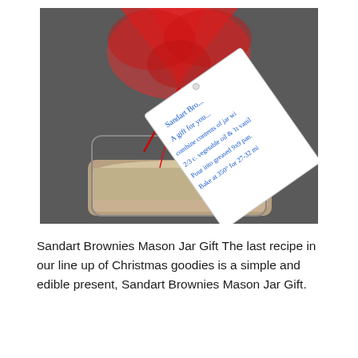[Figure (photo): Close-up photo of a mason jar brownie gift with a red organza ribbon bow. A handwritten recipe tag is attached, reading 'Sandart Br... A gift for you... combine contents of jar with 2/3 c. vegetable oil & 1t vanilla. Pour into greased 9x9 pan. Bake at 350° for 27-32 mi...']
Sandart Brownies Mason Jar Gift The last recipe in our line up of Christmas goodies is a simple and edible present, Sandart Brownies Mason Jar Gift.